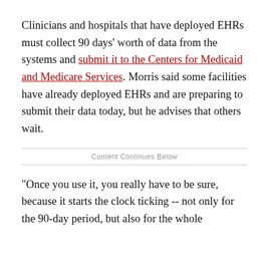Clinicians and hospitals that have deployed EHRs must collect 90 days' worth of data from the systems and submit it to the Centers for Medicaid and Medicare Services. Morris said some facilities have already deployed EHRs and are preparing to submit their data today, but he advises that others wait.
Content Continues Below
"Once you use it, you really have to be sure, because it starts the clock ticking -- not only for the 90-day period, but also for the whole